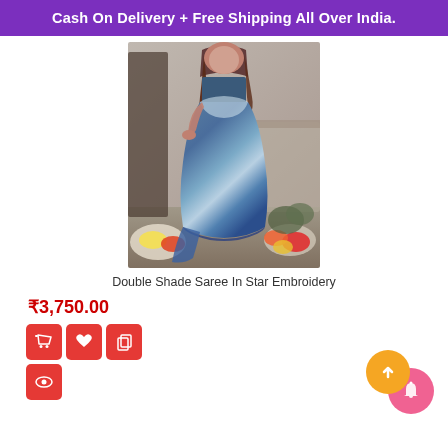Cash On Delivery + Free Shipping All Over India.
[Figure (photo): A woman wearing a double shade blue saree with star embroidery. The saree transitions from dark blue at the bottom to lighter blue-grey at the top. She is posed in front of a decorative backdrop with flowers.]
Double Shade Saree In Star Embroidery
₹3,750.00
[Figure (infographic): Red action buttons: shopping cart icon, heart icon, and copy/share icon. Below is an eye/view icon. Bottom right has yellow and pink notification circle buttons with an up arrow and bell icon respectively.]